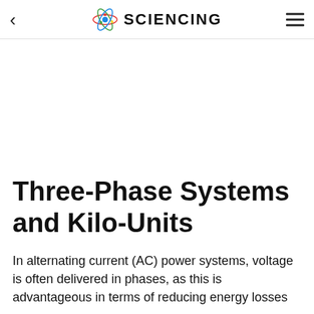SCIENCING
Three-Phase Systems and Kilo-Units
In alternating current (AC) power systems, voltage is often delivered in phases, as this is advantageous in terms of reducing energy losses